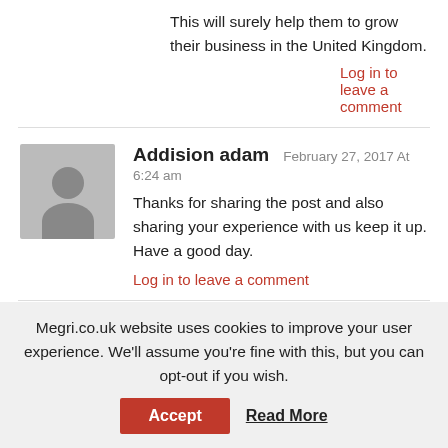This will surely help them to grow their business in the United Kingdom.
Log in to leave a comment
Addision adam  February 27, 2017 At 6:24 am
Thanks for sharing the post and also sharing your experience with us keep it up. Have a good day.
Log in to leave a comment
Jesse Semmens
February 27, 2017 At 6:24 am
Wishing you all the very best.Great opportunity for IT companies.
Megri.co.uk website uses cookies to improve your user experience. We'll assume you're fine with this, but you can opt-out if you wish.